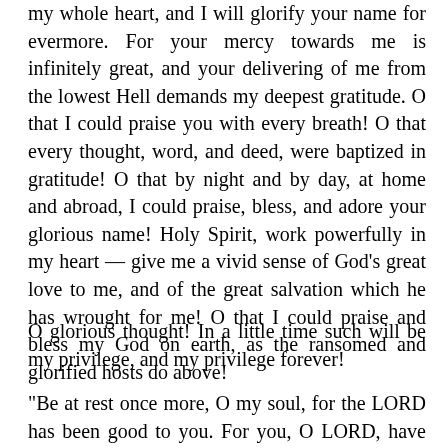my whole heart, and I will glorify your name for evermore. For your mercy towards me is infinitely great, and your delivering of me from the lowest Hell demands my deepest gratitude. O that I could praise you with every breath! O that every thought, word, and deed, were baptized in gratitude! O that by night and by day, at home and abroad, I could praise, bless, and adore your glorious name! Holy Spirit, work powerfully in my heart — give me a vivid sense of God's great love to me, and of the great salvation which he has wrought for me! O that I could praise and bless my God on earth, as the ransomed and glorified hosts do above!
O glorious thought! In a little time such will be my privilege, and my privilege forever!
"Be at rest once more, O my soul, for the LORD has been good to you. For you, O LORD, have delivered my soul from death, my eyes from tears, my feet from